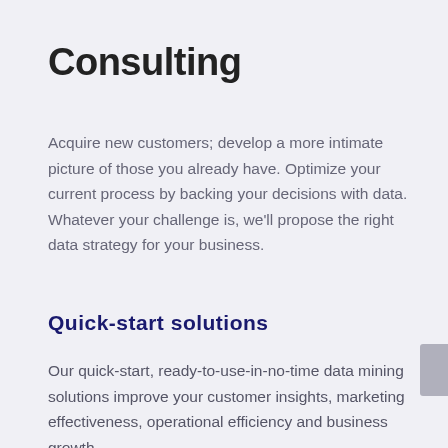Consulting
Acquire new customers; develop a more intimate picture of those you already have. Optimize your current process by backing your decisions with data. Whatever your challenge is, we'll propose the right data strategy for your business.
Quick-start solutions
Our quick-start, ready-to-use-in-no-time data mining solutions improve your customer insights, marketing effectiveness, operational efficiency and business growth.